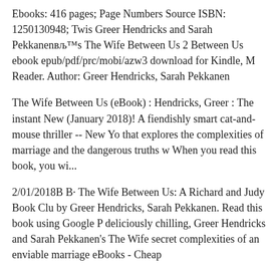Ebooks: 416 pages; Page Numbers Source ISBN: 1250130948; Twis Greer Hendricks and Sarah Pekkanenвљ™s The Wife Between Us 2 Between Us ebook epub/pdf/prc/mobi/azw3 download for Kindle, M Reader. Author: Greer Hendricks, Sarah Pekkanen
The Wife Between Us (eBook) : Hendricks, Greer : The instant New (January 2018)! A fiendishly smart cat-and-mouse thriller -- New Yo that explores the complexities of marriage and the dangerous truths w When you read this book, you wi...
2/01/2018В В· The Wife Between Us: A Richard and Judy Book Clu by Greer Hendricks, Sarah Pekkanen. Read this book using Google P deliciously chilling, Greer Hendricks and Sarah Pekkanen's The Wife secret complexities of an enviable marriage eBooks - Cheap
9/01/2018В В· The Wife Between Us: A Novel - Kindle edition by G Pekkanen. Download it once and read it on your Kindle device, PC, p download ebook The Wife Between Us: A Novel by Greer Hendricks format, ePub, mobi and Kindle. Read tons of textbook, novel and oth